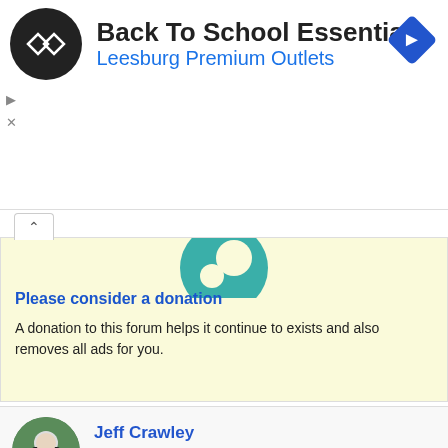[Figure (screenshot): Advertisement banner: Back To School Essentials at Leesburg Premium Outlets with logo icons]
[Figure (screenshot): Donation box with teal circular logo, asking users to consider a donation to the forum]
Please consider a donation
A donation to this forum helps it continue to exists and also removes all ads for you.
[Figure (photo): Jeff Crawley avatar photo with green background]
Jeff Crawley
Veteran Member
May 21, 2022  #11
[Figure (logo): IVAF Camino de Santiago community logo]
The largest online Community on the Camino de Santiago. Helping pilgrims travel to Santiago de Compostela. Register (free) or Log in to join.